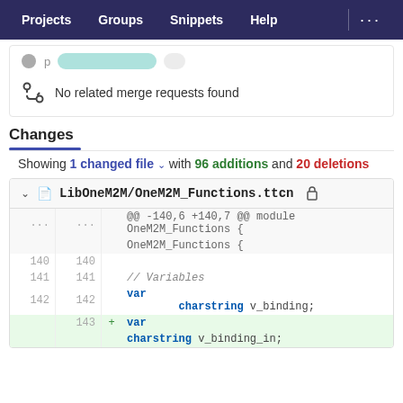Projects   Groups   Snippets   Help   ...
No related merge requests found
Changes
Showing 1 changed file with 96 additions and 20 deletions
| old | new | + | code |
| --- | --- | --- | --- |
| ... | ... |  | @@ -140,6 +140,7 @@ module OneM2M_Functions { |
| 140 | 140 |  |  |
| 141 | 141 |  | // Variables |
| 142 | 142 |  | var charstring v_binding; |
|  | 143 | + | var charstring v_binding_in; |